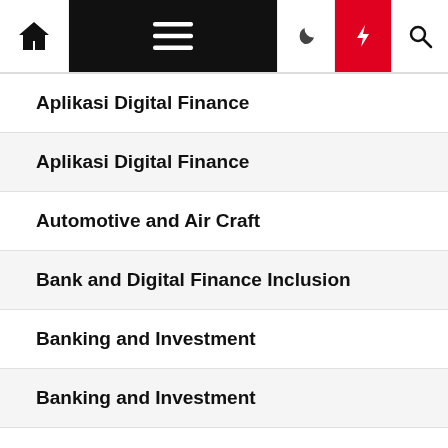[Figure (screenshot): Navigation bar with home icon, hamburger menu (black background), moon/dark mode icon, lightning bolt icon (red background), and search icon]
Aplikasi Digital Finance
Aplikasi Digital Finance
Automotive and Air Craft
Bank and Digital Finance Inclusion
Banking and Investment
Banking and Investment
Business Opportunities
Concumer Finance
Creative